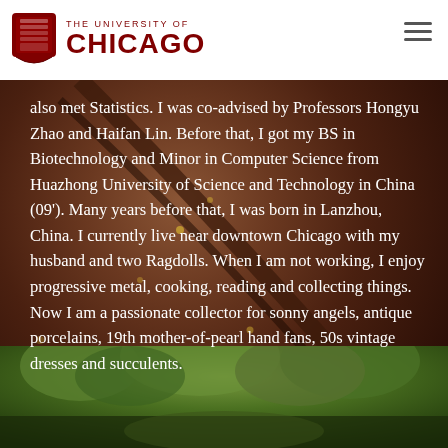THE UNIVERSITY OF CHICAGO
also met Statistics. I was co-advised by Professors Hongyu Zhao and Haifan Lin.  Before that, I got my BS in Biotechnology and Minor in Computer Science from Huazhong University of Science and Technology in China (09').  Many years before that, I was born in Lanzhou, China. I currently live near downtown Chicago with my husband and two Ragdolls. When I am not working, I enjoy progressive metal, cooking, reading and collecting things. Now I am a passionate collector for sonny angels, antique porcelains, 19th mother-of-pearl hand fans, 50s vintage dresses and succulents.
[Figure (photo): Bottom portion of page showing green foliage/trees, likely an outdoor photo]